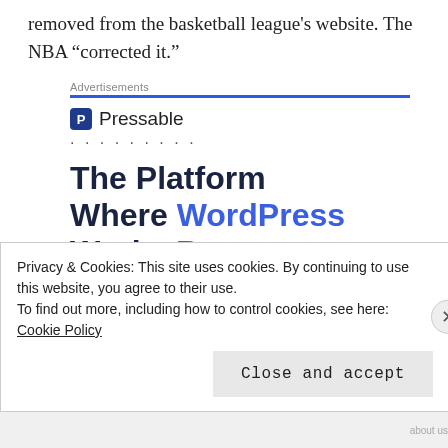removed from the basketball league's website. The NBA “corrected it.”
[Figure (screenshot): Pressable advertisement banner with logo, dots, and headline 'The Platform Where WordPress Works Best' with a 'SEE PRICING' button]
Privacy & Cookies: This site uses cookies. By continuing to use this website, you agree to their use.
To find out more, including how to control cookies, see here: Cookie Policy
Close and accept